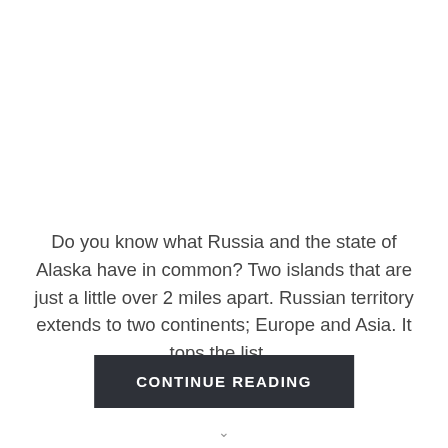Do you know what Russia and the state of Alaska have in common? Two islands that are just a little over 2 miles apart. Russian territory extends to two continents; Europe and Asia. It tops the list...
CONTINUE READING